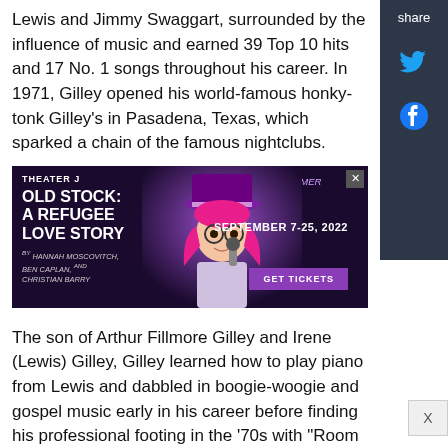Lewis and Jimmy Swaggart, surrounded by the influence of music and earned 39 Top 10 hits and 17 No. 1 songs throughout his career. In 1971, Gilley opened his world-famous honky-tonk Gilley's in Pasadena, Texas, which sparked a chain of the famous nightclubs.
[Figure (other): Advertisement for Theater J production 'Old Stock: A Refugee Love Story' - A Hit New Kleemer Musical, September 7-25, 2022. Features performer with pink hair and purple top hat. GET TICKETS button shown.]
The son of Arthur Fillmore Gilley and Irene (Lewis) Gilley, Gilley learned how to play piano from Lewis and dabbled in boogie-woogie and gospel music early in his career before finding his professional footing in the '70s with "Room Full of Roses." Hits